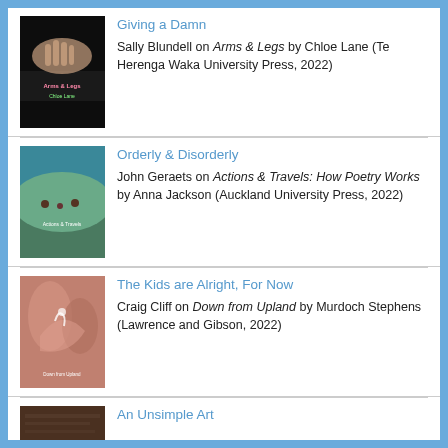Giving a Damn — Sally Blundell on Arms & Legs by Chloe Lane (Te Herenga Waka University Press, 2022)
Orderly & Disorderly — John Geraets on Actions & Travels: How Poetry Works by Anna Jackson (Auckland University Press, 2022)
The Kids are Alright, For Now — Craig Cliff on Down from Upland by Murdoch Stephens (Lawrence and Gibson, 2022)
An Unsimple Art